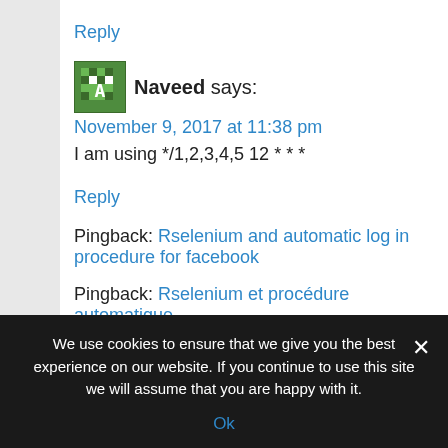Reply
Naveed says:
November 9, 2017 at 11:38 pm
I am using */1,2,3,4,5 12 * * *
Reply
Pingback: Rselenium and automatic log in procedure for facebook
Pingback: Rselenium et procédure automatique
We use cookies to ensure that we give you the best experience on our website. If you continue to use this site we will assume that you are happy with it.
Ok